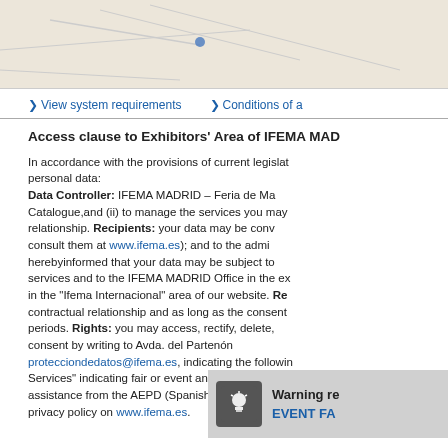[Figure (map): Partial map image at top of page]
View system requirements
Conditions of a...
Access clause to Exhibitors' Area of IFEMA MAD...
In accordance with the provisions of current legislat... personal data: Data Controller: IFEMA MADRID – Feria de Ma... Catalogue,and (ii) to manage the services you may... relationship. Recipients: your data may be conv... consult them at www.ifema.es); and to the admi... herebyinformed that your data may be subject to... services and to the IFEMA MADRID Office in the ex... in the "Ifema Internacional" area of our website. Re... contractual relationship and as long as the consent... periods. Rights: you may access, rectify, delete,... consent by writing to Avda. del Partenón... protecciondedatos@ifema.es, indicating the followin... Services" indicating fair or event and including your... assistance from the AEPD (Spanish Data Protect... privacy policy on www.ifema.es.
[Figure (infographic): Warning re... EVENT FA... box with lightbulb icon]